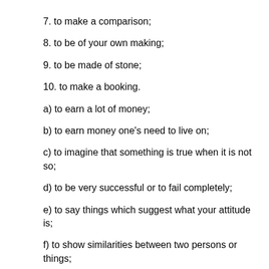7. to make a comparison;
8. to be of your own making;
9. to be made of stone;
10. to make a booking.
a) to earn a lot of money;
b) to earn money one's need to live on;
c) to imagine that something is true when it is not so;
d) to be very successful or to fail completely;
e) to say things which suggest what your attitude is;
f) to show similarities between two persons or things;
g) a marriage between two people who are exactly right for each other